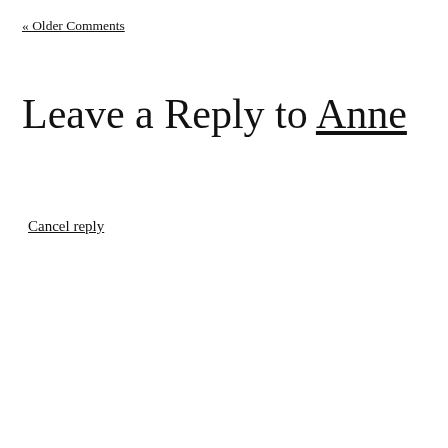« Older Comments
Leave a Reply to Anne
Cancel reply